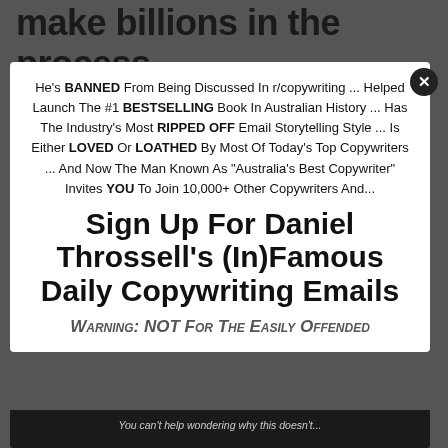make billions in the process
He's BANNED From Being Discussed In r/copywriting ... Helped Launch The #1 BESTSELLING Book In Australian History ... Has The Industry's Most RIPPED OFF Email Storytelling Style ... Is Either LOVED Or LOATHED By Most Of Today's Top Copywriters ... And Now The Man Known As "Australia's Best Copywriter" Invites YOU To Join 10,000+ Other Copywriters And...
Sign Up For Daniel Throssell's (In)Famous Daily Copywriting Emails
Warning: NOT For The Easily Offended
You can't help wondering why this doesn't...